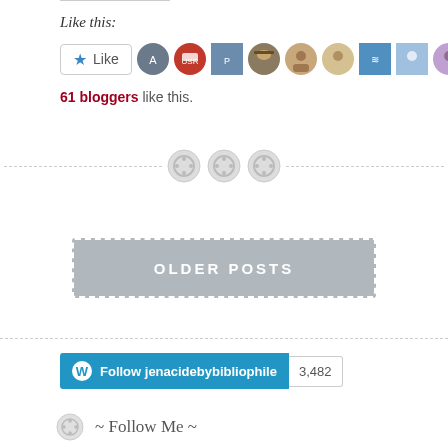Like this:
[Figure (screenshot): WordPress Like button with star icon and row of blogger avatar thumbnails]
61 bloggers like this.
[Figure (infographic): Decorative divider with three circular button/spool icons and dashed lines on either side]
OLDER POSTS
[Figure (screenshot): WordPress Follow button for jenacidebybibliophile with follower count 3,482]
~ Follow Me ~